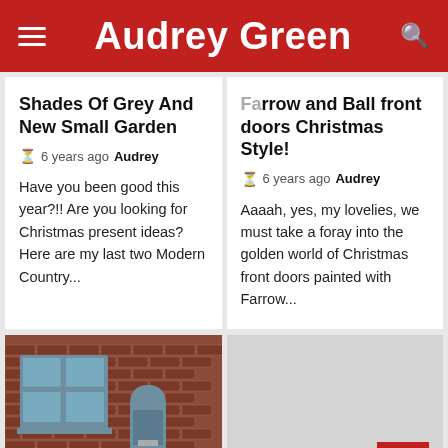Audrey Green
Shades Of Grey And New Small Garden
6 years ago  Audrey
Have you been good this year?!! Are you looking for Christmas present ideas? Here are my last two Modern Country...
Farrow and Ball front doors Christmas Style!
6 years ago  Audrey
Aaaah, yes, my lovelies, we must take a foray into the golden world of Christmas front doors painted with Farrow...
[Figure (photo): Photo of a brick building with blue-painted front door and matching window frames, with a white dog and Christmas decorations visible]
[Figure (photo): Light grey placeholder image with a red back-to-top arrow button in the bottom right corner]